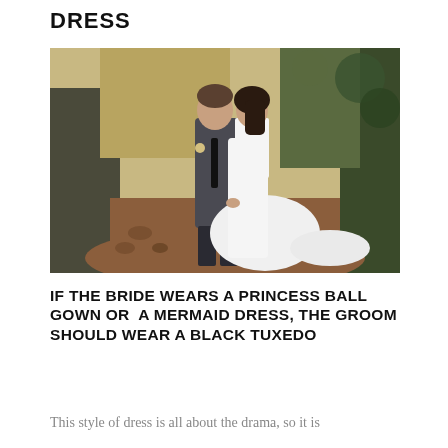DRESS
[Figure (photo): A bride and groom standing together outdoors on a dirt path surrounded by golden and green foliage. The bride wears a white mermaid dress with a train, and the groom wears a dark grey suit with a tie.]
IF THE BRIDE WEARS A PRINCESS BALL GOWN OR A MERMAID DRESS, THE GROOM SHOULD WEAR A BLACK TUXEDO
This style of dress is all about the drama, so it is